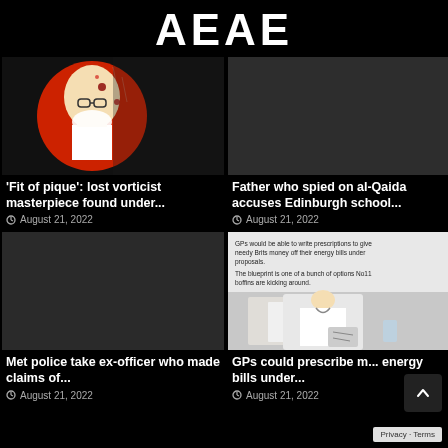AEAE
[Figure (photo): KFC Colonel Sanders logo split with a zombie-like illustration with blood, on a dark background]
'Fit of pique': lost vorticist masterpiece found under...
August 21, 2022
[Figure (photo): Dark gray placeholder image]
Father who spied on al-Qaida accuses Edinburgh school...
August 21, 2022
[Figure (photo): Dark gray placeholder image]
Met police take ex-officer who made claims of...
August 21, 2022
[Figure (photo): News article image showing text about GPs prescribing money off energy bills, with a photo of a doctor writing a prescription]
GPs could prescribe money off energy bills under...
August 21, 2022